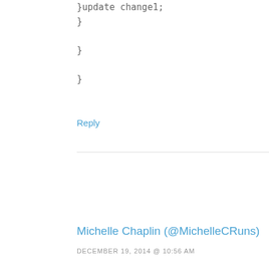}update change1;
}

}

}
Reply
Michelle Chaplin (@MichelleCRuns)
DECEMBER 19, 2014 @ 10:56 AM